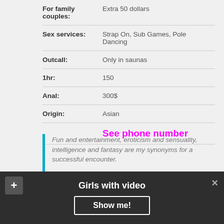| Field | Value |
| --- | --- |
| For family couples: | Extra 50 dollars |
| Sex services: | Strap On, Sub Games, Pole Dancing |
| Outcall: | Only in saunas |
| 1hr: | 150 |
| Anal: | 300$ |
| Origin: | Asian |
|  | See phone number |
Fun and entertainment, eroticism and sensuality, intelligence and fantasy are my synonyms for a successful encounter.
Girls with video
Show me!